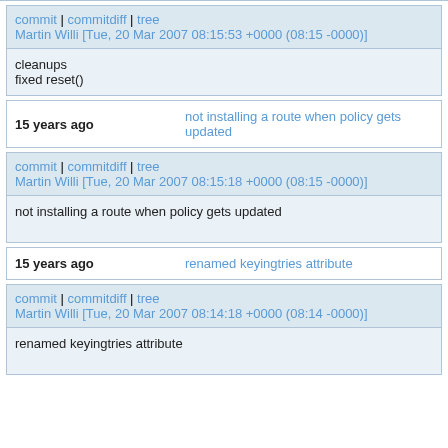commit | commitdiff | tree
Martin Willi [Tue, 20 Mar 2007 08:15:53 +0000 (08:15 -0000)]
cleanups
fixed reset()
15 years ago    not installing a route when policy gets updated
commit | commitdiff | tree
Martin Willi [Tue, 20 Mar 2007 08:15:18 +0000 (08:15 -0000)]
not installing a route when policy gets updated
15 years ago    renamed keyingtries attribute
commit | commitdiff | tree
Martin Willi [Tue, 20 Mar 2007 08:14:18 +0000 (08:14 -0000)]
renamed keyingtries attribute